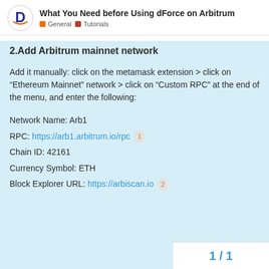What You Need before Using dForce on Arbitrum | General | Tutorials
2.Add Arbitrum mainnet network
Add it manually: click on the metamask extension > click on “Ethereum Mainnet” network > click on “Custom RPC” at the end of the menu, and enter the following:
Network Name: Arb1
RPC: https://arb1.arbitrum.io/rpc 1
Chain ID: 42161
Currency Symbol: ETH
Block Explorer URL: https://arbiscan.io 2
1 / 1